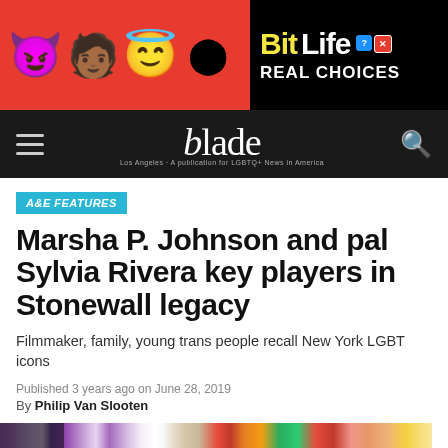[Figure (screenshot): BitLife advertisement banner with emoji characters on red background and black panel with yellow BitLife logo and 'REAL CHOICES' text]
blade (Los Angeles Blade navigation bar)
A&E FEATURES
Marsha P. Johnson and pal Sylvia Rivera key players in Stonewall legacy
Filmmaker, family, young trans people recall New York LGBT icons
Published 3 years ago on June 28, 2019
By Philip Van Slooten
[Figure (photo): Colorful flowers arrangement photo at the bottom of the page]